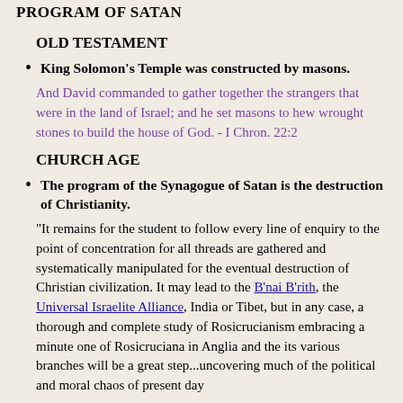PROGRAM OF SATAN
OLD TESTAMENT
King Solomon's Temple was constructed by masons.
And David commanded to gather together the strangers that were in the land of Israel; and he set masons to hew wrought stones to build the house of God. - I Chron. 22:2
CHURCH AGE
The program of the Synagogue of Satan is the destruction of Christianity.
"It remains for the student to follow every line of enquiry to the point of concentration for all threads are gathered and systematically manipulated for the eventual destruction of Christian civilization. It may lead to the B'nai B'rith, the Universal Israelite Alliance, India or Tibet, but in any case, a thorough and complete study of Rosicrucianism embracing a minute one of Rosicruciana in Anglia and the its various branches will be a great step...uncovering much of the political and moral chaos of present day